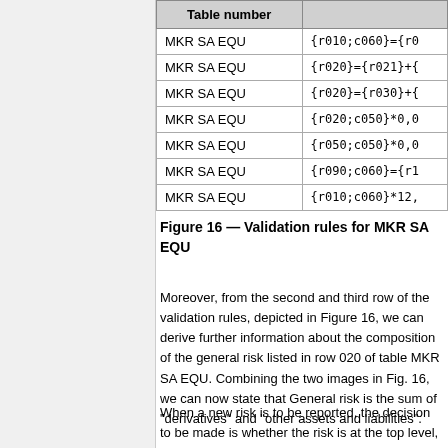| Table number |  |
| --- | --- |
| MKR SA EQU | {r010;c060}={r0... |
| MKR SA EQU | {r020}={r021}+{... |
| MKR SA EQU | {r020}={r030}+{... |
| MKR SA EQU | {r020;c050}*0,0... |
| MKR SA EQU | {r050;c050}*0,0... |
| MKR SA EQU | {r090;c060}={r1... |
| MKR SA EQU | {r010;c060}*12,... |
Figure 16 — Validation rules for MKR SA EQU
Moreover, from the second and third row of the validation rules, depicted in Figure 16, we can derive further information about the composition of the general risk listed in row 020 of table MKR SA EQU. Combining the two images in Fig. 16, we can now state that General risk is the sum of "derivatives" and "other assets and liabilities".
When a new risk is to be reported, the decision to be made is whether the risk is at the top level, different from the equity risk, or below the equity risk, and then from the...